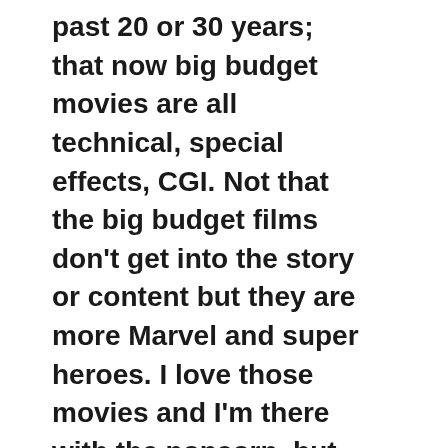past 20 or 30 years; that now big budget movies are all technical, special effects, CGI. Not that the big budget films don't get into the story or content but they are more Marvel and super heroes. I love those movies and I'm there with the popcorn, but the Indie industry-that's where you get down into characters, stories and dialogues and really get into it. What the Indie film industry